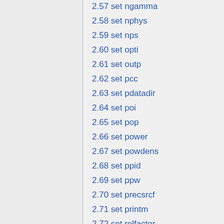2.57 set ngamma
2.58 set nphys
2.59 set nps
2.60 set opti
2.61 set outp
2.62 set pcc
2.63 set pdatadir
2.64 set poi
2.65 set pop
2.66 set power
2.67 set powdens
2.68 set ppid
2.69 set ppw
2.70 set precsrcf
2.71 set printm
2.72 set relfactor
2.73 set repro
2.74 set rfr
2.75 set rfw
2.76 set root